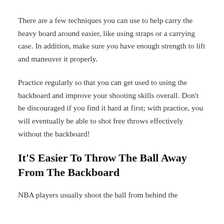There are a few techniques you can use to help carry the heavy board around easier, like using straps or a carrying case. In addition, make sure you have enough strength to lift and maneuver it properly.
Practice regularly so that you can get used to using the backboard and improve your shooting skills overall. Don't be discouraged if you find it hard at first; with practice, you will eventually be able to shot free throws effectively without the backboard!
It'S Easier To Throw The Ball Away From The Backboard
NBA players usually shoot the ball from behind the